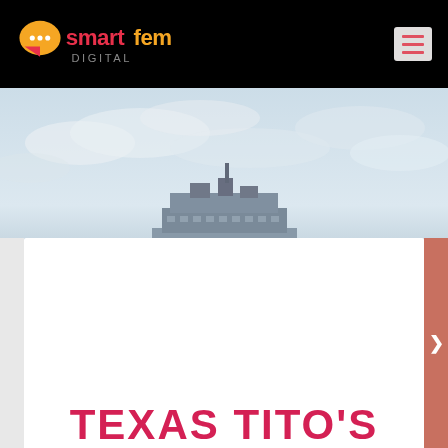smartfem DIGITAL — navigation header with logo and menu button
[Figure (photo): Exterior photo of a building rooftop against a pale cloudy sky]
TEXAS TITO'S